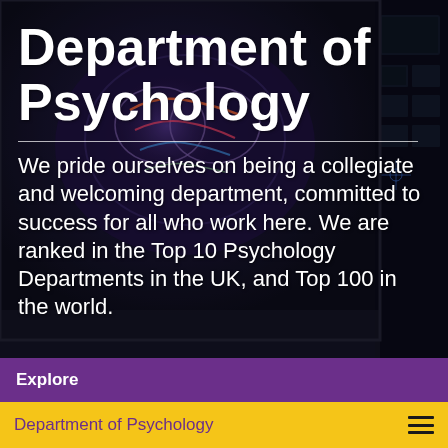[Figure (photo): Background image of a brain MRI scan displayed on a dark computer monitor screen, with colorful visualization of neural activity, partially visible secondary monitor with graphs on the right side.]
Department of Psychology
We pride ourselves on being a collegiate and welcoming department, committed to success for all who work here. We are ranked in the Top 10 Psychology Departments in the UK, and Top 100 in the world.
Explore
Department of Psychology